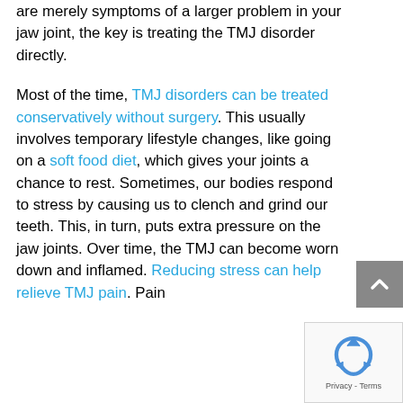are merely symptoms of a larger problem in your jaw joint, the key is treating the TMJ disorder directly.

Most of the time, TMJ disorders can be treated conservatively without surgery. This usually involves temporary lifestyle changes, like going on a soft food diet, which gives your joints a chance to rest. Sometimes, our bodies respond to stress by causing us to clench and grind our teeth. This, in turn, puts extra pressure on the jaw joints. Over time, the TMJ can become worn down and inflamed. Reducing stress can help relieve TMJ pain. Pain